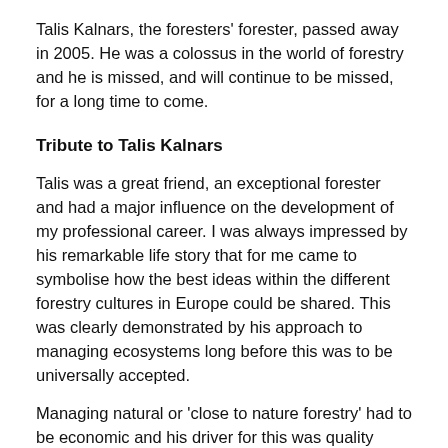Talis Kalnars, the foresters' forester, passed away in 2005. He was a colossus in the world of forestry and he is missed, and will continue to be missed, for a long time to come.
Tribute to Talis Kalnars
Talis was a great friend, an exceptional forester and had a major influence on the development of my professional career. I was always impressed by his remarkable life story that for me came to symbolise how the best ideas within the different forestry cultures in Europe could be shared. This was clearly demonstrated by his approach to managing ecosystems long before this was to be universally accepted.
Managing natural or 'close to nature forestry' had to be economic and his driver for this was quality timber production, always making use of the benefits of biological automation to optimise returns at minimum costs.
Talis will be best remembered for his thinning pattern 'Graduated Density' used in the initial stages of stand